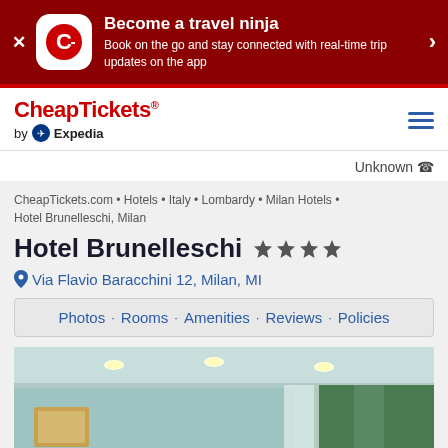[Figure (screenshot): CheapTickets app promotional banner with dark red background, app icon (white background with red C logo), text 'Become a travel ninja' and 'Book on the go and stay connected with real-time trip updates on the app', with close X on left and arrow on right]
CheapTickets by Expedia
Unknown
CheapTickets.com • Hotels • Italy • Lombardy • Milan Hotels • Hotel Brunelleschi, Milan
Hotel Brunelleschi ★★★★
Via Flavio Baracchini 12, Milan, MI
Photos · Rooms · Amenities · Reviews · Policies
[Figure (photo): Interior hotel room photo showing ceiling with recessed lights, teal/mint patterned wall, green curtains, and part of a framed artwork]